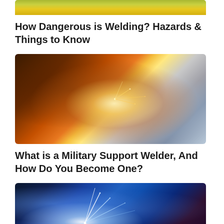[Figure (photo): Top portion of a construction/industrial scene with yellow equipment, cropped at top]
How Dangerous is Welding? Hazards & Things to Know
[Figure (photo): Close-up of welding with bright orange sparks and smoke, welder's hands visible]
What is a Military Support Welder, And How Do You Become One?
[Figure (photo): Blue-toned welding sparks flying in darkness]